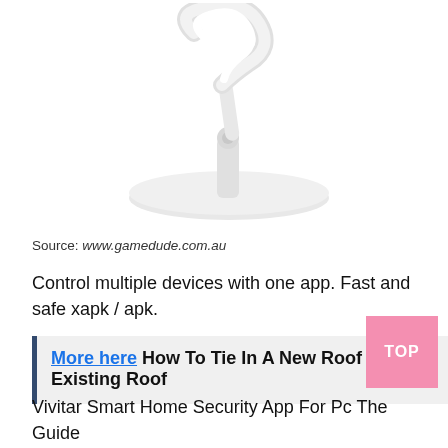[Figure (photo): A white phone or tablet stand/holder with an oval base, articulated arm, and ring-shaped top holder, photographed on a white background.]
Source: www.gamedude.com.au
Control multiple devices with one app. Fast and safe xapk / apk.
More here How To Tie In A New Roof To An Existing Roof
Vivitar Smart Home Security App For Pc The Guide